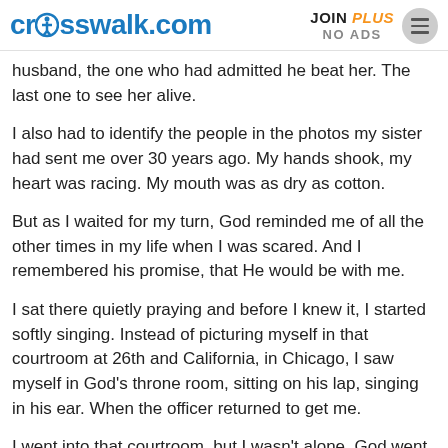crosswalk.com | JOIN PLUS NO ADS
husband, the one who had admitted he beat her. The last one to see her alive.
I also had to identify the people in the photos my sister had sent me over 30 years ago. My hands shook, my heart was racing. My mouth was as dry as cotton.
But as I waited for my turn, God reminded me of all the other times in my life when I was scared. And I remembered his promise, that He would be with me.
I sat there quietly praying and before I knew it, I started softly singing. Instead of picturing myself in that courtroom at 26th and California, in Chicago, I saw myself in God's throne room, sitting on his lap, singing in his ear. When the officer returned to get me.
I went into that courtroom, but I wasn't alone. God went with me.